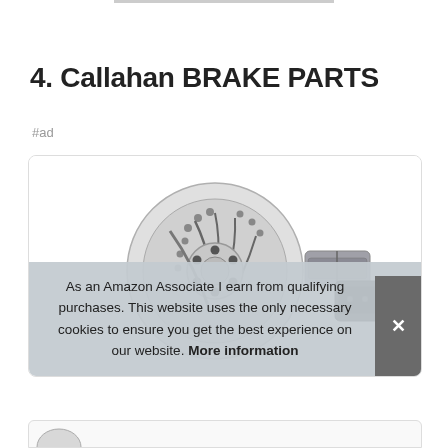4. Callahan BRAKE PARTS
#ad
[Figure (photo): Product image showing a large drilled and slotted brake rotor disc alongside two brake pad sets (grey and black)]
As an Amazon Associate I earn from qualifying purchases. This website uses the only necessary cookies to ensure you get the best experience on our website. More information